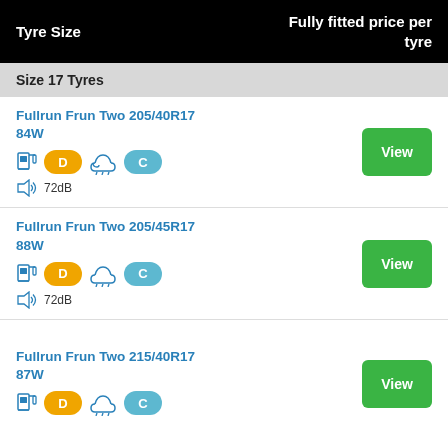| Tyre Size | Fully fitted price per tyre |
| --- | --- |
| Fullrun Frun Two 205/40R17 84W | D | C | 72dB | View |
| Fullrun Frun Two 205/45R17 88W | D | C | 72dB | View |
| Fullrun Frun Two 215/40R17 87W | D | C | View |